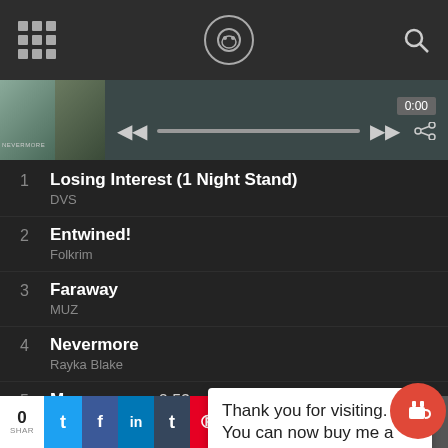[Figure (screenshot): Top navigation bar with grid icon, shield/headphone logo, and search icon on dark background]
[Figure (screenshot): Music player bar with album art thumbnails, playback controls, progress bar, time display 0:00, and share button]
1  Losing Interest (1 Night Stand)  1:51
   DVS
2  Entwined!  4:36
   Folkrim
3  Faraway  2:58
   MUZ
4  Nevermore  3:53
   Rayka Blake
5  Menace  2:53
   Trashed Ambulance
6  Subs...
   Fort...
Thank you for visiting. You can now buy me a coffee!
0 SHAR  [Twitter] [Facebook] [LinkedIn] [Tumblr] [Pinterest] [Reddit] [Pocket] [Skull] [Email] [Print] [More]